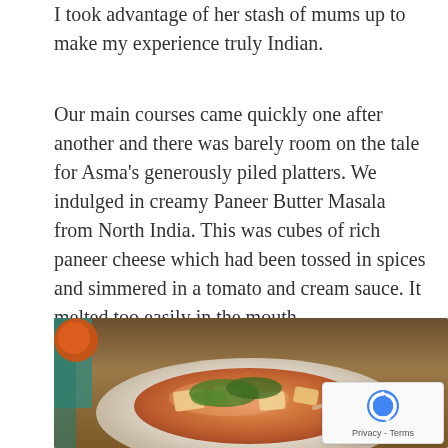I took advantage of her stash of mums up to make my experience truly Indian.
Our main courses came quickly one after another and there was barely room on the tale for Asma's generously piled platters. We indulged in creamy Paneer Butter Masala from North India. This was cubes of rich paneer cheese which had been tossed in spices and simmered in a tomato and cream sauce. It melted too easily in the mouth.
[Figure (photo): A photograph of a white bowl containing Paneer Butter Masala — cubes of paneer cheese in an orange-red tomato cream sauce, garnished with fresh green herbs (coriander/cilantro). The dish sits on a rustic wooden surface with a teal/blue-green background element visible. An orange object is partially visible in the top left corner. A reCAPTCHA privacy overlay appears in the bottom right corner.]